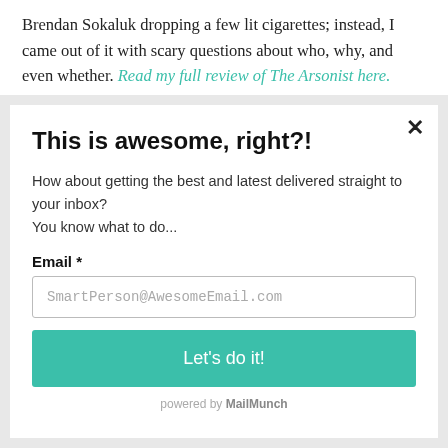Brendan Sokaluk dropping a few lit cigarettes; instead, I came out of it with scary questions about who, why, and even whether. Read my full review of The Arsonist here.
This is awesome, right?!
How about getting the best and latest delivered straight to your inbox?
You know what to do...
Email *
SmartPerson@AwesomeEmail.com
Let's do it!
powered by MailMunch